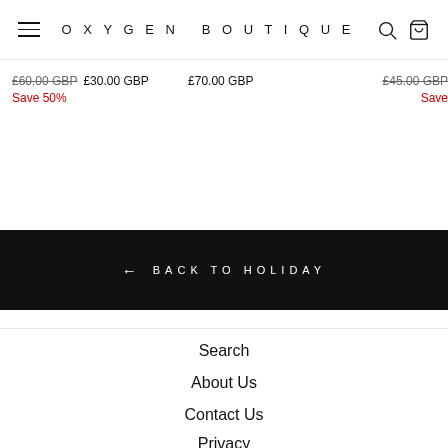OXYGEN BOUTIQUE
£60.00 GBP  £30.00 GBP  Save 50%  |  £70.00 GBP  |  £45.00 GBP  Save ...
← BACK TO HOLIDAY
Search
About Us
Contact Us
Privacy